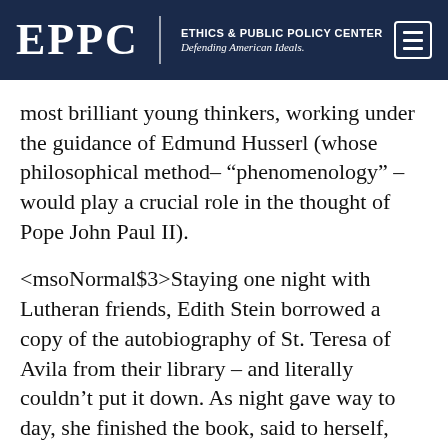EPPC | ETHICS & PUBLIC POLICY CENTER Defending American Ideals.
most brilliant young thinkers, working under the guidance of Edmund Husserl (whose philosophical method– “phenomenology” – would play a crucial role in the thought of Pope John Paul II).
<msoNormal$3>Staying one night with Lutheran friends, Edith Stein borrowed a copy of the autobiography of St. Teresa of Avila from their library – and literally couldn’t put it down. As night gave way to day, she finished the book, said to herself, “This is the truth,” and immediately set out to become a Catholic. Her